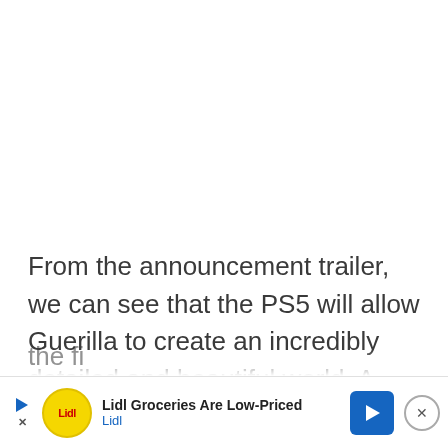From the announcement trailer, we can see that the PS5 will allow Guerilla to create an incredibly detailed and beautiful world. A PS4 version would have certainly looked just as good as Horizon Zero Dawn, but splitting development between consoles could hinder the f[...]e of the fi[...]
[Figure (other): Lidl advertisement banner at bottom of page showing Lidl logo, text 'Lidl Groceries Are Low-Priced', navigation icon, and close button]